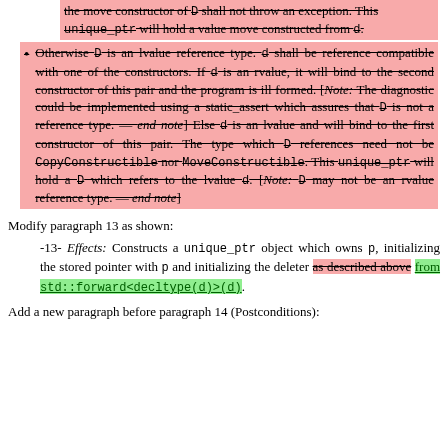[struck] the move constructor of D shall not throw an exception. This unique_ptr will hold a value move constructed from d.
[struck] Otherwise D is an lvalue reference type. d shall be reference compatible with one of the constructors. If d is an rvalue, it will bind to the second constructor of this pair and the program is ill formed. [Note: The diagnostic could be implemented using a static_assert which assures that D is not a reference type. — end note] Else d is an lvalue and will bind to the first constructor of this pair. The type which D references need not be CopyConstructible nor MoveConstructible. This unique_ptr will hold a D which refers to the lvalue d. [Note: D may not be an rvalue reference type. — end note]
Modify paragraph 13 as shown:
-13- Effects: Constructs a unique_ptr object which owns p, initializing the stored pointer with p and initializing the deleter as described above [struck] from std::forward<decltype(d)>(d) [added].
Add a new paragraph before paragraph 14 (Postconditions):